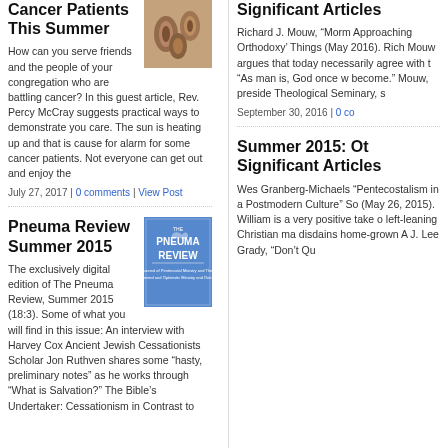Cancer Patients This Summer
How can you serve friends and the people of your congregation who are battling cancer? In this guest article, Rev. Percy McCray suggests practical ways to demonstrate you care. The sun is heating up and that is cause for alarm for some cancer patients. Not everyone can get out and enjoy the
July 27, 2017 | 0 comments | View Post
Pneuma Review Summer 2015
The exclusively digital edition of The Pneuma Review, Summer 2015 (18:3). Some of what you will find in this issue: An interview with Harvey Cox Ancient Jewish Cessationists Scholar Jon Ruthven shares some “hasty, preliminary notes” as he works through “What is Salvation?” The Bible’s Undertaker: Cessationism in Contrast to
Significant Articles
Richard J. Mouw, “Morm Approaching Orthodoxy’ Things (May 2016). Rich Mouw argues that today necessarily agree with t “As man is, God once w become.” Mouw, preside Theological Seminary, s
September 30, 2016 | 0 co
Summer 2015: Ot Significant Articles
Wes Granberg-Michaels “Pentecostalism in a Postmodern Culture” So (May 26, 2015). William is a very positive take o left-leaning Christian ma disdains home-grown A J. Lee Grady, “Don’t Qu